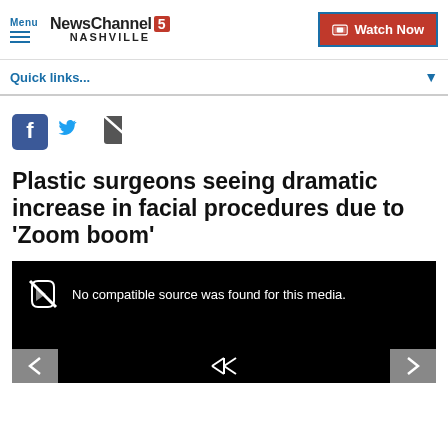Menu | NewsChannel 5 NASHVILLE | Watch Now
Quick links...
[Figure (screenshot): Social sharing icons: Facebook (blue square with f), Twitter (blue bird), Email (gray envelope)]
Plastic surgeons seeing dramatic increase in facial procedures due to 'Zoom boom'
[Figure (screenshot): Black video player area with muted speaker icon and text: No compatible source was found for this media. Navigation arrows at bottom left and right.]